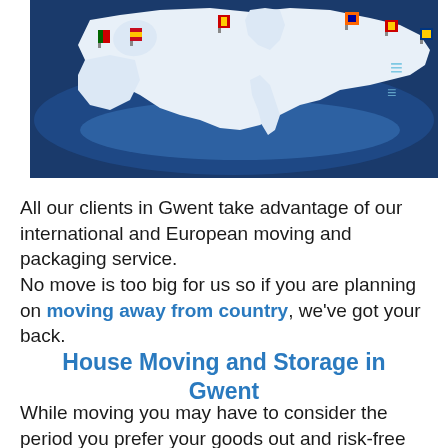[Figure (photo): 3D map of Europe with country flags pinned at various locations on a dark blue background]
All our clients in Gwent take advantage of our international and European moving and packaging service.
No move is too big for us so if you are planning on moving away from country, we've got your back.
House Moving and Storage in Gwent
While moving you may have to consider the period you prefer your goods out and risk-free and here we come along with the solution: